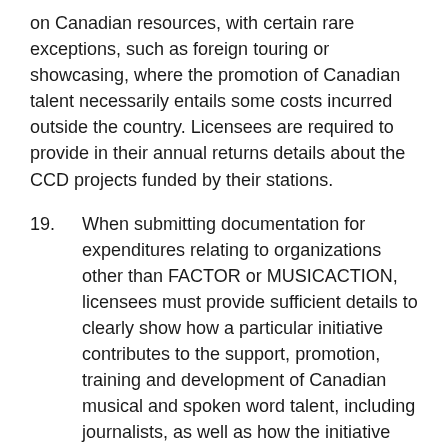on Canadian resources, with certain rare exceptions, such as foreign touring or showcasing, where the promotion of Canadian talent necessarily entails some costs incurred outside the country. Licensees are required to provide in their annual returns details about the CCD projects funded by their stations.
19.   When submitting documentation for expenditures relating to organizations other than FACTOR or MUSICACTION, licensees must provide sufficient details to clearly show how a particular initiative contributes to the support, promotion, training and development of Canadian musical and spoken word talent, including journalists, as well as how the initiative meets the criteria for an eligible initiative set out in the 2006 Commercial Radio Policy. Documentation must demonstrate the eligibility of the initiative and must directly show the desired purpose of the funds and how the funds are actually used, as well as include proof of payment.
20.   As an example, supporting documentation for